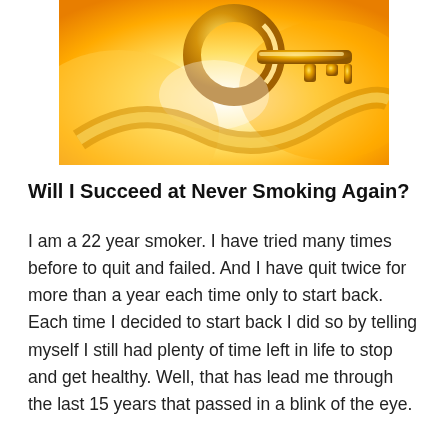[Figure (photo): A golden key or decorative gold object with warm orange and yellow tones, partially cropped at the top of the page.]
Will I Succeed at Never Smoking Again?
I am a 22 year smoker. I have tried many times before to quit and failed. And I have quit twice for more than a year each time only to start back. Each time I decided to start back I did so by telling myself I still had plenty of time left in life to stop and get healthy. Well, that has lead me through the last 15 years that passed in a blink of the eye.